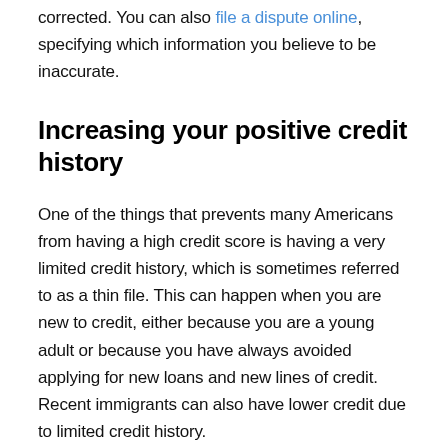corrected. You can also file a dispute online, specifying which information you believe to be inaccurate.
Increasing your positive credit history
One of the things that prevents many Americans from having a high credit score is having a very limited credit history, which is sometimes referred to as a thin file. This can happen when you are new to credit, either because you are a young adult or because you have always avoided applying for new loans and new lines of credit. Recent immigrants can also have lower credit due to limited credit history.
To expand your credit history, you'll want to open up new